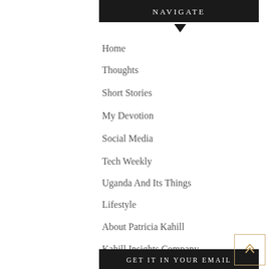NAVIGATE
Home
Thoughts
Short Stories
My Devotion
Social Media
Tech Weekly
Uganda And Its Things
Lifestyle
About Patricia Kahill
Kahill Insights Company
GET IT IN YOUR EMAIL
Enter your email address to subscribe to this blog and receive notifications of new posts by